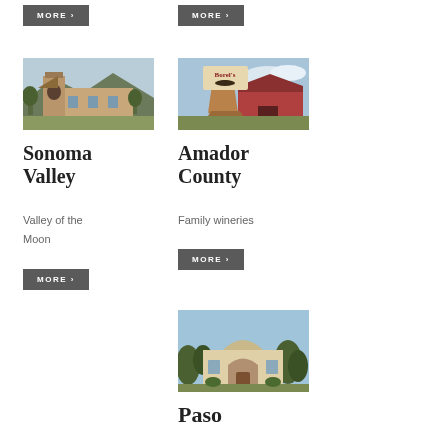[Figure (photo): MORE button top left]
[Figure (photo): MORE button top right]
[Figure (photo): Photo of Sonoma Valley winery building]
[Figure (photo): Photo of Amador County Borel's winery sign]
Sonoma Valley
Valley of the Moon
[Figure (other): MORE button for Sonoma Valley]
Amador County
Family wineries
[Figure (other): MORE button for Amador County]
[Figure (photo): Photo of Paso Robles winery building with arched entrance]
Paso